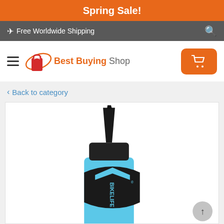Spring Sale!
✈ Free Worldwide Shipping
[Figure (logo): Best Buying Shop logo with shopping bag icon in red/orange and the text 'Best Buying Shop']
‹ Back to category
[Figure (photo): A blue and black squeeze bottle of BIKELIFE lubricant/oil with a pointed black cap, photographed against a white background]